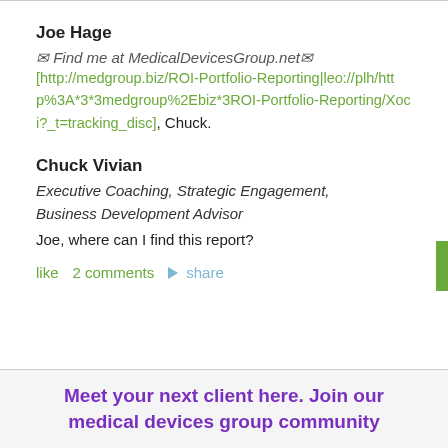Joe Hage
✉ Find me at MedicalDevicesGroup.net✉ [http://medgroup.biz/ROI-Portfolio-Reporting|leo://plh/http%3A*3*3medgroup%2Ebiz*3ROI-Portfolio-Reporting/Xoci?_t=tracking_disc], Chuck.
Chuck Vivian
Executive Coaching, Strategic Engagement, Business Development Advisor
Joe, where can I find this report?
like   2 comments   ➤ share
Meet your next client here. Join our medical devices group community